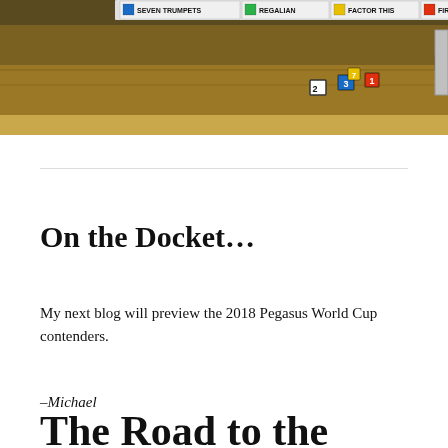[Figure (screenshot): Horse racing broadcast screenshot showing scoreboard with horses SEVEN TRUMPETS, REGALIAN, FACTOR THIS, FIRENZE FIRE and racing numbers visible on track]
On the Docket…
My next blog will preview the 2018 Pegasus World Cup contenders.
–Michael
The Road to the